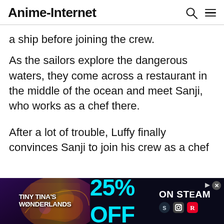Anime-Internet
a ship before joining the crew.
As the sailors explore the dangerous waters, they come across a restaurant in the middle of the ocean and meet Sanji, who works as a chef there.
After a lot of trouble, Luffy finally convinces Sanji to join his crew as a chef
[Figure (screenshot): Advertisement banner for Tiny Tina's Wonderlands showing 25% OFF on Steam with game artwork and social media icons]